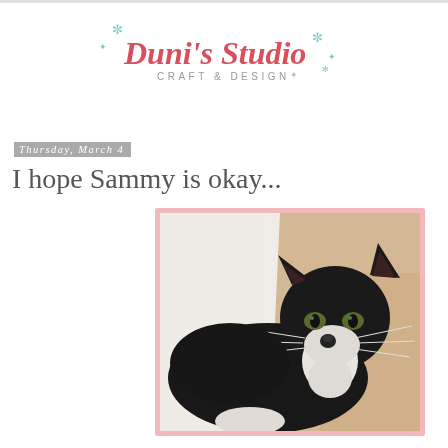[Figure (logo): Duni's Studio Craft & Design logo with decorative snowflake/star elements in teal and script-style red text]
Thursday, March 4
I hope Sammy is okay...
[Figure (photo): A black and white tuxedo cat lying down and looking directly at the camera, with white whiskers visible and light-colored background. Photo framed with a pink/salmon border.]